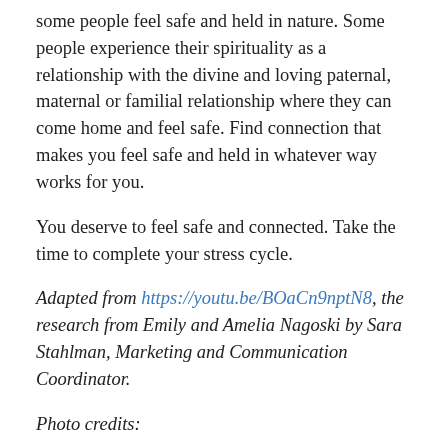some people feel safe and held in nature. Some people experience their spirituality as a relationship with the divine and loving paternal, maternal or familial relationship where they can come home and feel safe. Find connection that makes you feel safe and held in whatever way works for you.
You deserve to feel safe and connected. Take the time to complete your stress cycle.
Adapted from https://youtu.be/BOaCn9nptN8, the research from Emily and Amelia Nagoski by Sara Stahlman, Marketing and Communication Coordinator.
Photo credits:
Africa image by cocoparisienne from Pixabay